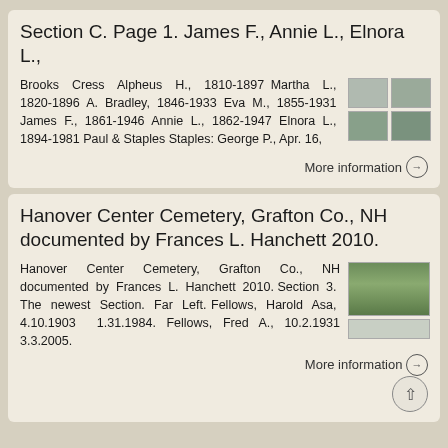Section C. Page 1. James F., Annie L., Elnora L.,
Brooks Cress Alpheus H., 1810-1897 Martha L., 1820-1896 A. Bradley, 1846-1933 Eva M., 1855-1931 James F., 1861-1946 Annie L., 1862-1947 Elnora L., 1894-1981 Paul & Staples Staples: George P., Apr. 16,
More information →
Hanover Center Cemetery, Grafton Co., NH documented by Frances L. Hanchett 2010.
Hanover Center Cemetery, Grafton Co., NH documented by Frances L. Hanchett 2010. Section 3. The newest Section. Far Left. Fellows, Harold Asa, 4.10.1903 1.31.1984. Fellows, Fred A., 10.2.1931 3.3.2005.
More information →